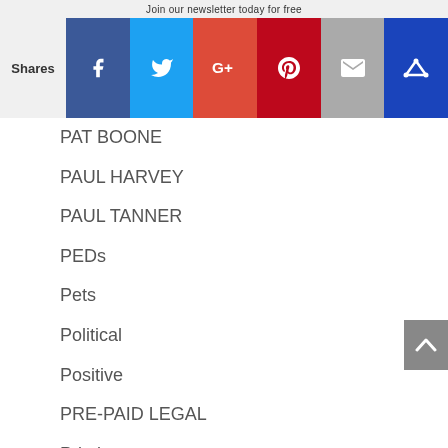Join our newsletter today for free
PAT BOONE
PAUL HARVEY
PAUL TANNER
PEDs
Pets
Political
Positive
PRE-PAID LEGAL
Printing
Prisoner Exchange
Prisoner Swap
Products-Merhandise to sell
Professor